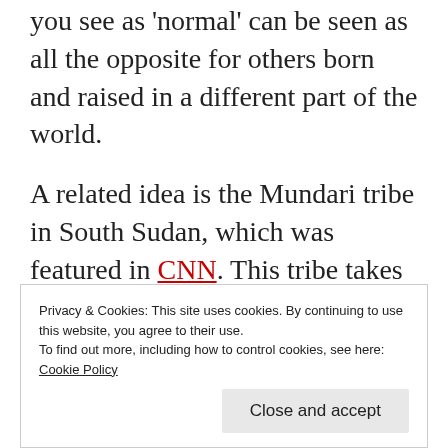you see as 'normal' can be seen as all the opposite for others born and raised in a different part of the world.
A related idea is the Mundari tribe in South Sudan, which was featured in CNN. This tribe takes cow-urine showers because of their antibacterial properties and for aesthetic reasons. Is this really disgusting? Is this normal? It may depend on the
Privacy & Cookies: This site uses cookies. By continuing to use this website, you agree to their use.
To find out more, including how to control cookies, see here: Cookie Policy